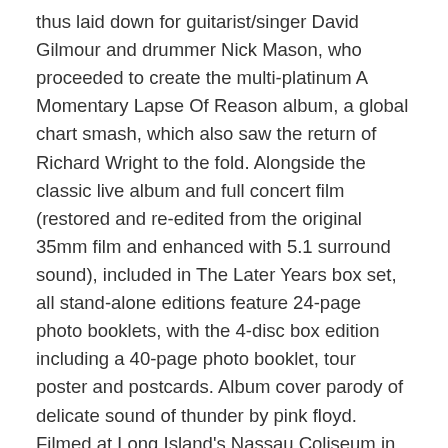thus laid down for guitarist/singer David Gilmour and drummer Nick Mason, who proceeded to create the multi-platinum A Momentary Lapse Of Reason album, a global chart smash, which also saw the return of Richard Wright to the fold. Alongside the classic live album and full concert film (restored and re-edited from the original 35mm film and enhanced with 5.1 surround sound), included in The Later Years box set, all stand-alone editions feature 24-page photo booklets, with the 4-disc box edition including a 40-page photo booklet, tour poster and postcards. Album cover parody of delicate sound of thunder by pink floyd. Filmed at Long Island's Nassau Coliseum in August 1988 and directed by Wayne Isham, the 2020 release of the Grammy Award nominated Delicate Sound Of Thunder is sourced directly from over 100 cans of original 35mm negatives, painstakingly restored and transferred to 4K, and completely re-edited